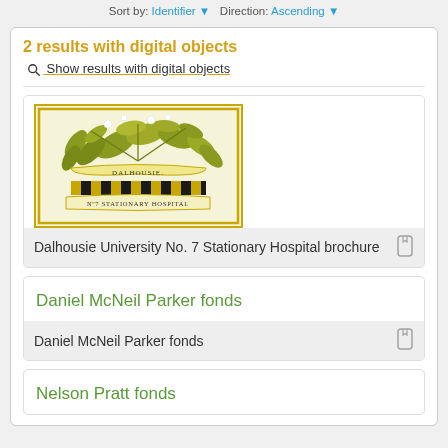Sort by: Identifier ▼ Direction: Ascending ▼
2 results with digital objects  Show results with digital objects
[Figure (photo): Illustrated brochure cover for Dalhousie University No. 7 Stationary Hospital, featuring yellow-green botanical leaves and flowers with a banner.]
Dalhousie University No. 7 Stationary Hospital brochure
Daniel McNeil Parker fonds
Daniel McNeil Parker fonds
Nelson Pratt fonds